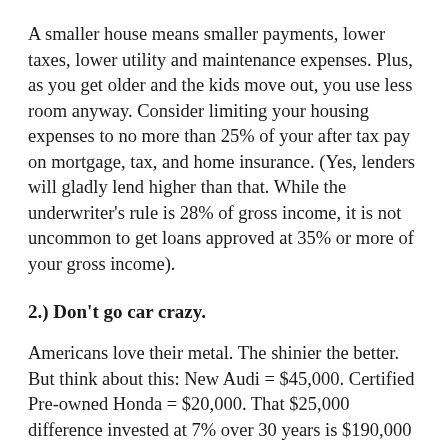A smaller house means smaller payments, lower taxes, lower utility and maintenance expenses. Plus, as you get older and the kids move out, you use less room anyway. Consider limiting your housing expenses to no more than 25% of your after tax pay on mortgage, tax, and home insurance. (Yes, lenders will gladly lend higher than that. While the underwriter's rule is 28% of gross income, it is not uncommon to get loans approved at 35% or more of your gross income).
2.) Don't go car crazy.
Americans love their metal. The shinier the better. But think about this: New Audi = $45,000. Certified Pre-owned Honda = $20,000. That $25,000 difference invested at 7% over 30 years is $190,000